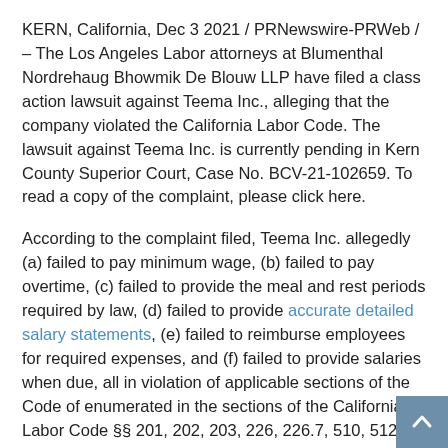KERN, California, Dec 3 2021 / PRNewswire-PRWeb / – The Los Angeles Labor attorneys at Blumenthal Nordrehaug Bhowmik De Blouw LLP have filed a class action lawsuit against Teema Inc., alleging that the company violated the California Labor Code. The lawsuit against Teema Inc. is currently pending in Kern County Superior Court, Case No. BCV-21-102659. To read a copy of the complaint, please click here.
According to the complaint filed, Teema Inc. allegedly (a) failed to pay minimum wage, (b) failed to pay overtime, (c) failed to provide the meal and rest periods required by law, (d) failed to provide accurate detailed salary statements, (e) failed to reimburse employees for required expenses, and (f) failed to provide salaries when due, all in violation of applicable sections of the Code of enumerated in the sections of the California Labor Code §§ 201, 202, 203, 226, 226.7, 510, 512, 1194, 1197, 1197.1, 2802 and the applicable wage orders, and thus gives rise to civil penalties at the as a result of such alleged